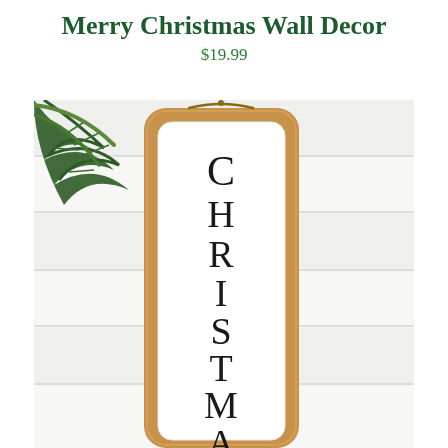Merry Christmas Wall Decor
$19.99
[Figure (photo): A tall vertical wooden-framed sign leaning against a white shiplap wall, with pine branches visible in the upper left corner. The sign has a white background with large black serif letters reading CHRISTMAS vertically. The wooden frame has rounded corners and a warm oak/bamboo tone.]